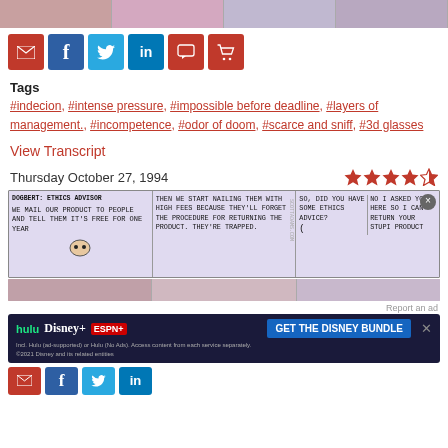[Figure (screenshot): Top strip of comic thumbnail images]
[Figure (infographic): Social sharing buttons: email, facebook, twitter, linkedin, comment, cart]
Tags
#indecion, #intense pressure, #impossible before deadline, #layers of management., #incompetence, #odor of doom, #scarce and sniff, #3d glasses
View Transcript
Thursday October 27, 1994
[Figure (infographic): 4.5 star rating]
[Figure (illustration): Dilbert comic strip. Panel 1: DOGBERT: ETHICS ADVISOR - WE MAIL OUR PRODUCT TO PEOPLE AND TELL THEM IT'S FREE FOR ONE YEAR. Panel 2: THEN WE START NAILING THEM WITH HIGH FEES BECAUSE THEY'LL FORGET THE PROCEDURE FOR RETURNING THE PRODUCT. THEY'RE TRAPPED. Panel 3: SO, DID YOU HAVE SOME ETHICS ADVICE? / NO I ASKED YOU HERE SO I CAN RETURN YOUR STUPI PRODUCT]
[Figure (screenshot): Disney Bundle advertisement banner: Hulu, Disney+, ESPN+, GET THE DISNEY BUNDLE. Incl. Hulu (ad-supported) or Hulu (No Ads). Access content from each service separately. ©2021 Disney and its related entities]
[Figure (infographic): Bottom social share bar (partially visible)]